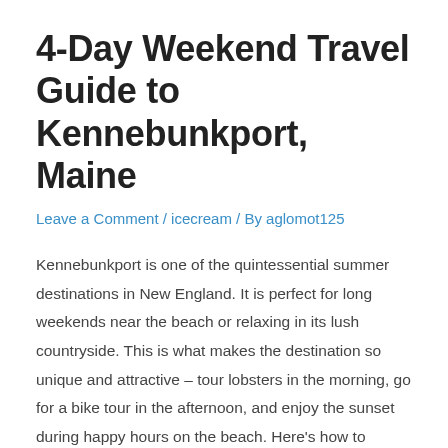4-Day Weekend Travel Guide to Kennebunkport, Maine
Leave a Comment / icecream / By aglomot125
Kennebunkport is one of the quintessential summer destinations in New England. It is perfect for long weekends near the beach or relaxing in its lush countryside. This is what makes the destination so unique and attractive – tour lobsters in the morning, go for a bike tour in the afternoon, and enjoy the sunset during happy hours on the beach. Here's how to spend the perfect weekend in Kennebunkport, Maine.
How to get there
For the majority of visitors, Kennebunkport is a relatively smooth drive. Boston residents can arrive 90 minutes later on I-95; Other New England cities average about three hours; Even New Yorkers